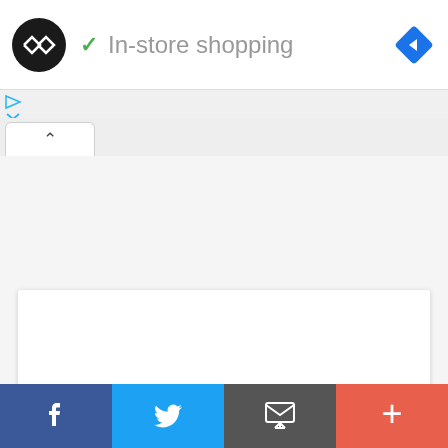[Figure (screenshot): App header with circular logo (black circle with white double-arrow icon), green checkmark, 'In-store shopping' text in gray, and a blue diamond navigation icon on the right]
[Figure (screenshot): Ad controls: small blue play triangle and blue X icons on the left side]
[Figure (screenshot): Browser-style tab bar with an active tab showing an up-caret symbol]
[Figure (screenshot): White content card area in the middle of the page]
[Figure (screenshot): Social sharing bottom bar with four buttons: Facebook (blue), Twitter (light blue), Email (gray), More (orange-red)]